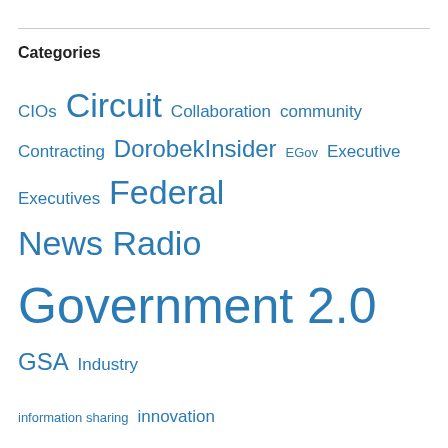Categories
CIOs Circuit Collaboration community Contracting DorobekInsider EGov Executive Executives Federal News Radio Government 2.0 GSA Industry information sharing innovation Management Most read items OMB oversight Policy procurement strategy Technology Transition transparency Uncategorized Web 2.0 White House Whose In and Whose Out Workforce